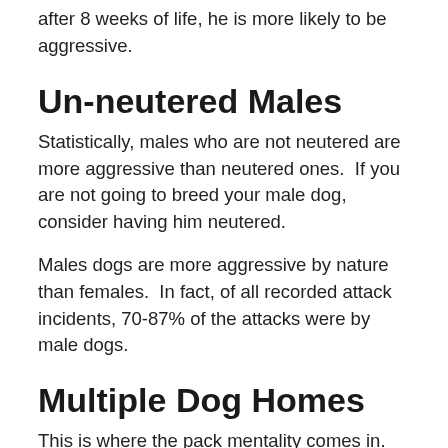after 8 weeks of life, he is more likely to be aggressive.
Un-neutered Males
Statistically, males who are not neutered are more aggressive than neutered ones.  If you are not going to breed your male dog, consider having him neutered.
Males dogs are more aggressive by nature than females.  In fact, of all recorded attack incidents, 70-87% of the attacks were by male dogs.
Multiple Dog Homes
This is where the pack mentality comes in.  More than one dog in a home increases the chances of